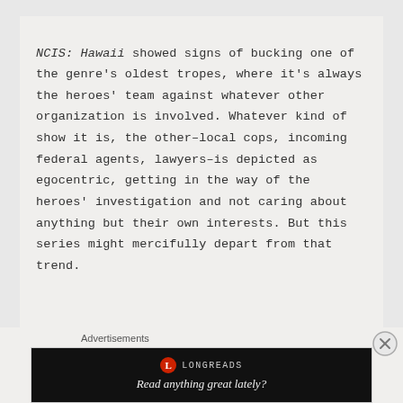NCIS: Hawaii showed signs of bucking one of the genre's oldest tropes, where it's always the heroes' team against whatever other organization is involved. Whatever kind of show it is, the other–local cops, incoming federal agents, lawyers–is depicted as egocentric, getting in the way of the heroes' investigation and not caring about anything but their own interests. But this series might mercifully depart from that trend.
Advertisements
[Figure (other): Longreads advertisement banner with dark background. Shows Longreads logo (red circle with L) and text 'Read anything great lately?']